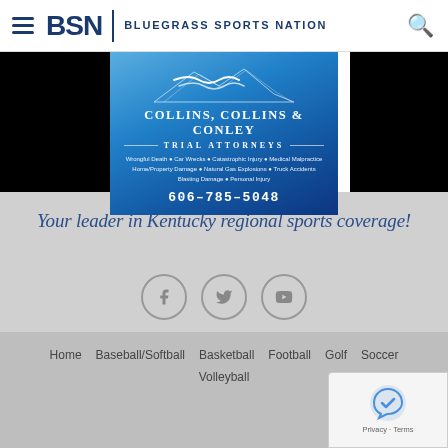BSN | Bluegrass Sports Nation
KEITH TAYLOR
Another 10-win Season on Horizon for CATS?
[Figure (advertisement): Collins, Collins & Conley Trial Attorneys advertisement with blue mountain logo, phone number 606-785-5048]
Your leader in Kentucky regional sports coverage!
[Figure (infographic): Social media icons: Facebook, Twitter, YouTube in gray circles]
Home  Baseball/Softball  Basketball  Football  Golf  Soccer  Volleyball